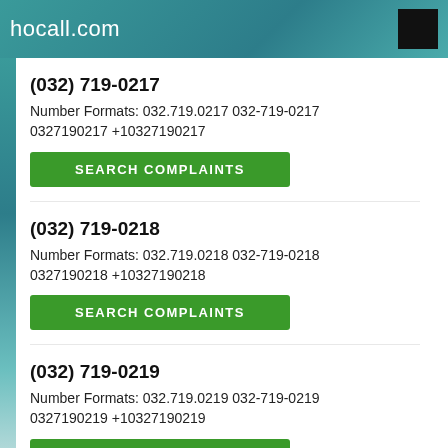hocall.com
(032) 719-0217
Number Formats: 032.719.0217 032-719-0217 0327190217 +10327190217
(032) 719-0218
Number Formats: 032.719.0218 032-719-0218 0327190218 +10327190218
(032) 719-0219
Number Formats: 032.719.0219 032-719-0219 0327190219 +10327190219